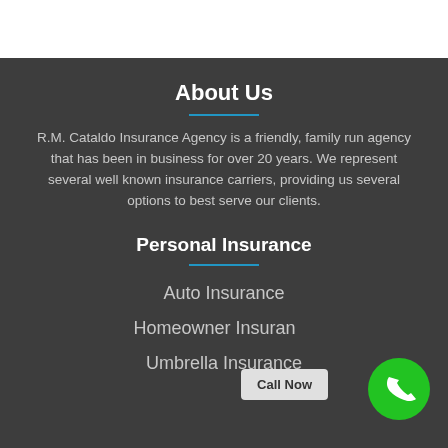About Us
R.M. Cataldo Insurance Agency is a friendly, family run agency that has been in business for over 20 years. We represent several well known insurance carriers, providing us several options to best serve our clients.
Personal Insurance
Auto Insurance
Homeowner Insurance
Umbrella Insurance